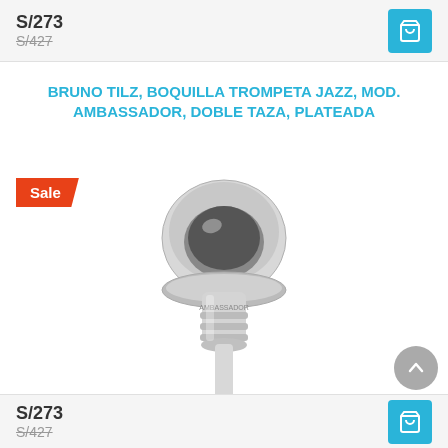S/273
S/427
BRUNO TILZ, BOQUILLA TROMPETA JAZZ, MOD. AMBASSADOR, DOBLE TAZA, PLATEADA
[Figure (photo): Silver trumpet mouthpiece (Bruno Tilz Ambassador Jazz model, double cup, silver plated) on white background]
Sale
S/273
S/427